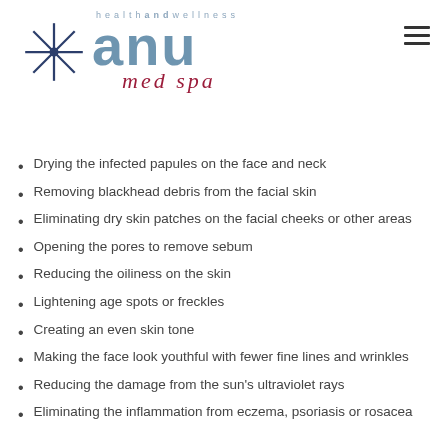[Figure (logo): Anu Health and Wellness Med Spa logo with asterisk/star graphic and stylized text]
Drying the infected papules on the face and neck
Removing blackhead debris from the facial skin
Eliminating dry skin patches on the facial cheeks or other areas
Opening the pores to remove sebum
Reducing the oiliness on the skin
Lightening age spots or freckles
Creating an even skin tone
Making the face look youthful with fewer fine lines and wrinkles
Reducing the damage from the sun's ultraviolet rays
Eliminating the inflammation from eczema, psoriasis or rosacea